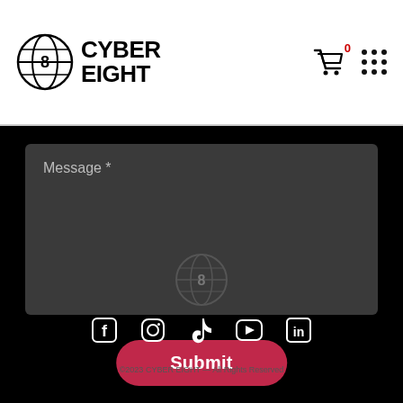CYBER EIGHT
Message *
Submit
[Figure (logo): Cyber Eight circular globe logo in grayscale]
[Figure (infographic): Social media icons row: Facebook, Instagram, TikTok, YouTube, LinkedIn]
©2023 CYBER EIGHT — All Rights Reserved